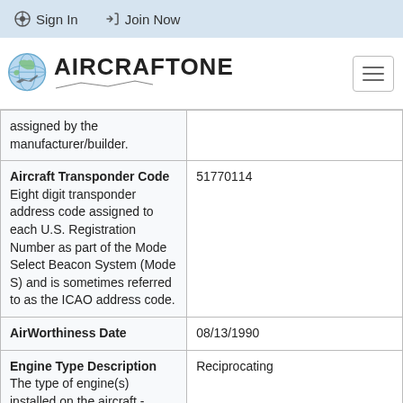Sign In   Join Now
[Figure (logo): AircraftOne logo with globe icon and airplane silhouette]
| Field | Value |
| --- | --- |
| assigned by the manufacturer/builder. |  |
| Aircraft Transponder Code
Eight digit transponder address code assigned to each U.S. Registration Number as part of the Mode Select Beacon System (Mode S) and is sometimes referred to as the ICAO address code. | 51770114 |
| AirWorthiness Date | 08/13/1990 |
| Engine Type Description
The type of engine(s) installed on the aircraft - | Reciprocating |